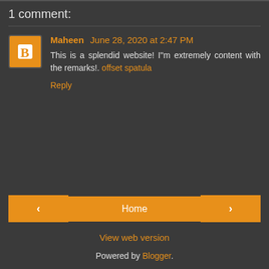1 comment:
Maheen June 28, 2020 at 2:47 PM
This is a splendid website! I"m extremely content with the remarks!. offset spatula
Reply
Home
View web version
Powered by Blogger.